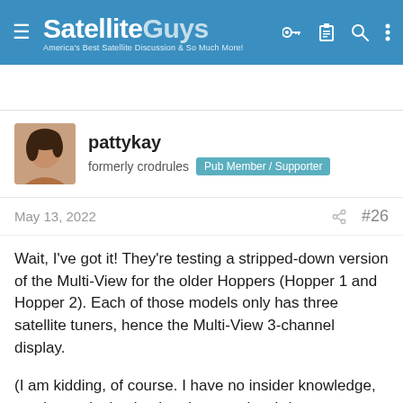SatelliteGuys — America's Best Satellite Discussion & So Much More!
[Figure (photo): Avatar photo of user pattykay, showing a person with dark hair]
pattykay
formerly crodrules  Pub Member / Supporter
May 13, 2022   #26
Wait, I've got it! They're testing a stripped-down version of the Multi-View for the older Hoppers (Hopper 1 and Hopper 2). Each of those models only has three satellite tuners, hence the Multi-View 3-channel display.

(I am kidding, of course. I have no insider knowledge, so please don't take the above seriously.)
TheKrell, nawchon, charlesrshell and 1 other person